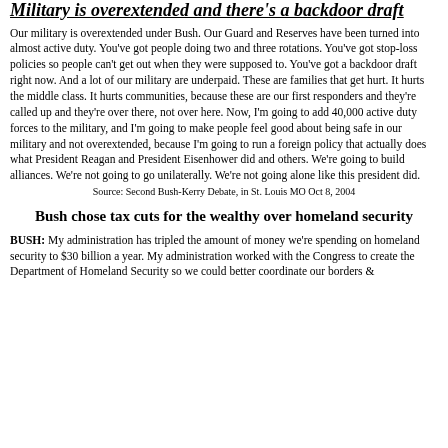Military is overextended and there's a backdoor draft
Our military is overextended under Bush. Our Guard and Reserves have been turned into almost active duty. You've got people doing two and three rotations. You've got stop-loss policies so people can't get out when they were supposed to. You've got a backdoor draft right now. And a lot of our military are underpaid. These are families that get hurt. It hurts the middle class. It hurts communities, because these are our first responders and they're called up and they're over there, not over here. Now, I'm going to add 40,000 active duty forces to the military, and I'm going to make people feel good about being safe in our military and not overextended, because I'm going to run a foreign policy that actually does what President Reagan and President Eisenhower did and others. We're going to build alliances. We're not going to go unilaterally. We're not going alone like this president did.
Source: Second Bush-Kerry Debate, in St. Louis MO Oct 8, 2004
Bush chose tax cuts for the wealthy over homeland security
BUSH: My administration has tripled the amount of money we're spending on homeland security to $30 billion a year. My administration worked with the Congress to create the Department of Homeland Security so we could better coordinate our borders &